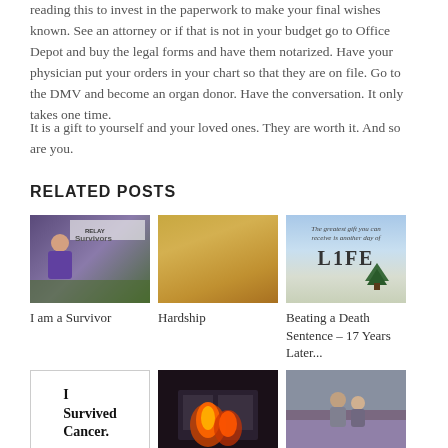reading this to invest in the paperwork to make your final wishes known. See an attorney or if that is not in your budget go to Office Depot and buy the legal forms and have them notarized. Have your physician put your orders in your chart so that they are on file. Go to the DMV and become an organ donor. Have the conversation. It only takes one time.
It is a gift to yourself and your loved ones. They are worth it. And so are you.
RELATED POSTS
[Figure (photo): Person in purple shirt at Relay for Life Survivors event with banner in background]
I am a Survivor
[Figure (photo): Golden/amber colored background image for Hardship post]
Hardship
[Figure (photo): Sky with text 'The greatest gift you can receive is another day of LIFE' with a tree]
Beating a Death Sentence – 17 Years Later...
[Figure (illustration): White card with bold text 'I Survived Cancer.']
[Figure (photo): Building on fire at night with orange and red flames]
[Figure (photo): Couple in a lavender field]